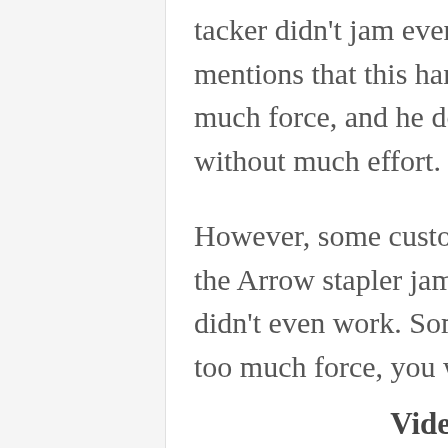tacker didn't jam even once. Another customer mentions that this hammer tacker doesn't require much force, and he does his job quickly and without much effort.
However, some customers have complained that the Arrow stapler jams every few staples or that it didn't even work. Some also warn that if you use too much force, you will bruise your knuckles.
Video Overview